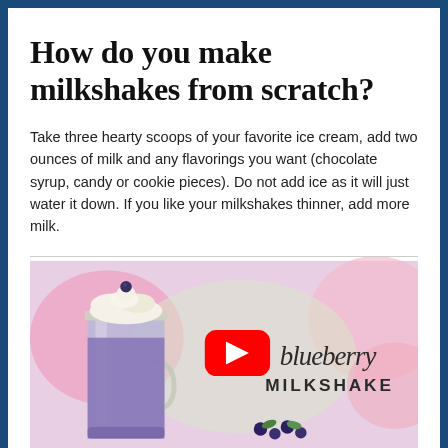How do you make milkshakes from scratch?
Take three hearty scoops of your favorite ice cream, add two ounces of milk and any flavorings you want (chocolate syrup, candy or cookie pieces). Do not add ice as it will just water it down. If you like your milkshakes thinner, add more milk.
[Figure (photo): YouTube thumbnail showing a blueberry milkshake in a mason jar mug with whipped cream topping, YouTube play button overlay, text reading 'blueberry MILKSHAKE' in script/serif font, blueberries and flowers in background.]